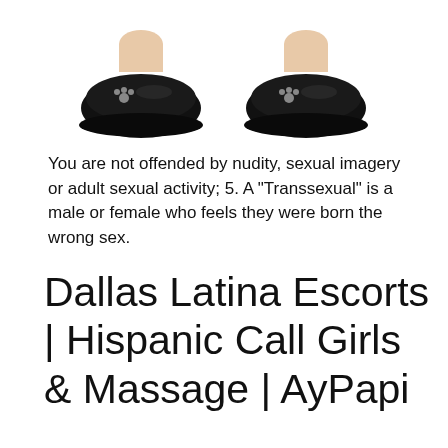[Figure (photo): Two black flat shoes (loafers) side by side, viewed from above at slight angle, with decorative silver details on the toe area]
You are not offended by nudity, sexual imagery or adult sexual activity; 5. A "Transsexual" is a male or female who feels they were born the wrong sex.
Dallas Latina Escorts | Hispanic Call Girls & Massage | AyPapi
For example, a male who wishes they were born female or vice versa. What is a Transvestite? A "Transvestite" is a person who likes to wear clothes of the opposite sex.
A person who does this does not have to be gay. There are many heterosexual men who enjoy dressing in womens clothes. Sometimes transvestites are refered to